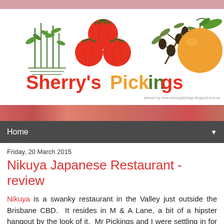[Figure (illustration): Sherry's Pickings blog header banner with illustrated vegetables and fruits (bamboo/herbs, tomatoes, olives, orange) and the text 'Sherry's Pickings' in colorful lettering with tagline 'artwork by www.sherryspickings.blogspot.com.au']
Home
Friday, 20 March 2015
Nikuya Japanese Restaurant - review
Nikuya is a swanky restaurant in the Valley just outside the Brisbane CBD. It resides in M & A Lane, a bit of a hipster hangout by the look of it. Mr Pickings and I were settling in for an evening at home recently when we got an unexpected call from friends asking if we wanted to try out a restaurant with them. "Why not?", we cried casting aside our bowls of